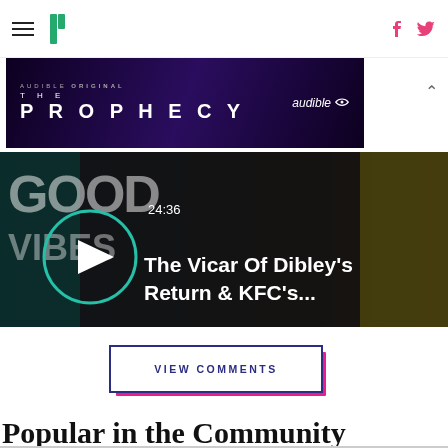HuffPost UK navigation with hamburger menu, logo, Facebook and Twitter icons
[Figure (photo): Audible Original 'The Prophecy' advertisement banner with dark purple background]
[Figure (screenshot): Video thumbnail showing 'Good Vibes' show with play button, duration 24:36, title 'The Vicar Of Dibley's Return & KFC's...']
VIEW COMMENTS
Popular in the Community
[Figure (photo): Bottom strip showing two partial images]